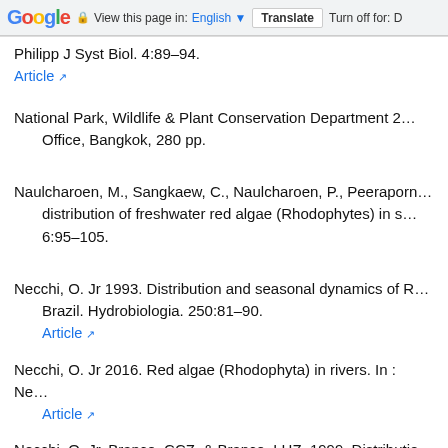Google  View this page in: English  Translate  Turn off for: D
Philipp J Syst Biol. 4:89–94.
Article
National Park, Wildlife & Plant Conservation Department 2... Office, Bangkok, 280 pp.
Naulcharoen, M., Sangkaew, C., Naulcharoen, P., Peeraporn... distribution of freshwater red algae (Rhodophytes) in s... 6:95–105.
Necchi, O. Jr 1993. Distribution and seasonal dynamics of R... Brazil. Hydrobiologia. 250:81–90.
Article
Necchi, O. Jr 2016. Red algae (Rhodophyta) in rivers. In : Ne...
Article
Necchi, O. Jr, Branco, CCZ. & Branco, LHZ. 1999. Distributio... State, southeastern Brazil. Arch Hydrobiol. 147:73–89...